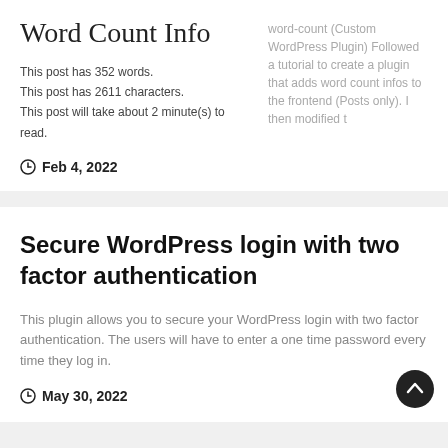Word Count Info
This post has 352 words.
This post has 2611 characters.
This post will take about 2 minute(s) to read.
word-count (Custom WordPress Plugin) Followed a tutorial to create a plugin that adds word count infos to the frontend (Posts only). I then modified t
Feb 4, 2022
Secure WordPress login with two factor authentication
This plugin allows you to secure your WordPress login with two factor authentication. The users will have to enter a one time password every time they log in.
May 30, 2022